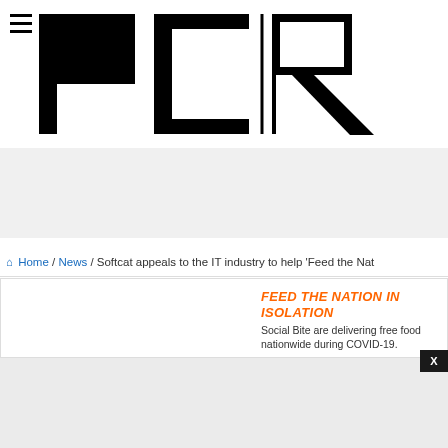[Figure (logo): PCR logo — large bold black 'PC' letters with a vertical divider and outlined 'R' letter]
Home / News / Softcat appeals to the IT industry to help 'Feed the Nat...
[Figure (screenshot): Feed the Nation in Isolation banner ad — orange bold italic heading 'FEED THE NATION IN ISOLATION', subtext 'Social Bite are delivering free food nationwide during COVID-19.' with a close X button]